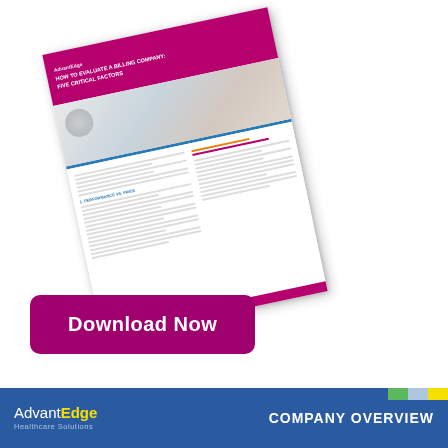[Figure (illustration): A rotated/angled view of a white paper document titled 'How to Evaluate a Billing Company: Five Critical Factors' with a magenta/purple header bar, a photo of a healthcare professional, body text columns, and orange/pink footer accents. The document appears to be a white paper or guide from AdvantEdge Healthcare Solutions.]
[Figure (other): A large rounded-rectangle magenta/dark pink button with white bold text reading 'Download Now']
[Figure (other): Bottom blue banner bar showing AdvantEdge Healthcare Solutions logo on the left and 'COMPANY OVERVIEW' text on the right, with small colored squares (green, light blue, yellow) in the top right corner]